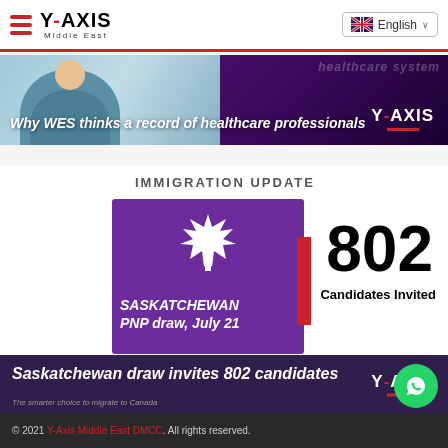Y AXIS Middle East | English
[Figure (screenshot): Banner showing healthcare professionals with text: Why WES thinks a record of healthcare professionals, Y Axis logo]
IMMIGRATION UPDATE
[Figure (infographic): Purple card with Canadian maple leaf and text: SASKATCHEWAN PNP draw, July 21, red bar accent, with 802 Candidates Invited on right]
Saskatchewan draw invites 802 candidates
© 2021 Y-Axis Middle East DMCC. All rights reserved.